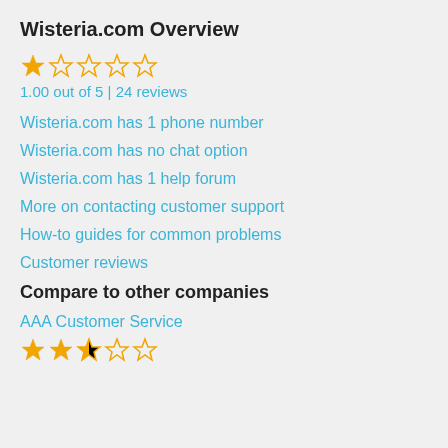Wisteria.com Overview
[Figure (other): 1 filled star and 4 empty stars rating display]
1.00 out of 5 | 24 reviews
Wisteria.com has 1 phone number
Wisteria.com has no chat option
Wisteria.com has 1 help forum
More on contacting customer support
How-to guides for common problems
Customer reviews
Compare to other companies
AAA Customer Service
[Figure (other): 2.5 stars rating display — 2 filled stars, 1 half star, 2 empty stars]